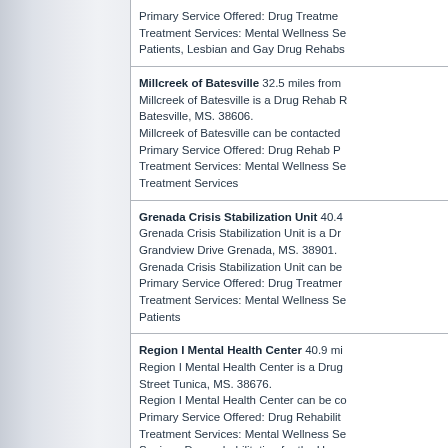Primary Service Offered: Drug Treatment Services: Mental Wellness Se Patients, Lesbian and Gay Drug Rehabs
Millcreek of Batesville 32.5 miles from Millcreek of Batesville is a Drug Rehab R Batesville, MS. 38606. Millcreek of Batesville can be contacted Primary Service Offered: Drug Rehab P Treatment Services: Mental Wellness Se Treatment Services
Grenada Crisis Stabilization Unit 40.4 Grenada Crisis Stabilization Unit is a Dr Grandview Drive Grenada, MS. 38901. Grenada Crisis Stabilization Unit can be Primary Service Offered: Drug Treatmer Treatment Services: Mental Wellness Se Patients
Region I Mental Health Center 40.9 mi Region I Mental Health Center is a Drug Street Tunica, MS. 38676. Region I Mental Health Center can be co Primary Service Offered: Drug Rehabilit Treatment Services: Mental Wellness Se Seniors, Drug rehabilitation for the Hear
Greenwood Leflore Hospital 41.7 mile Greenwood Leflore Hospital is a Drug T